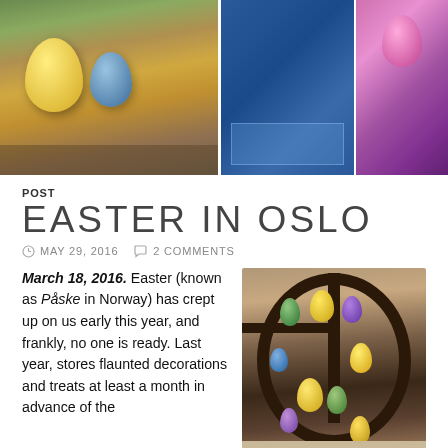[Figure (photo): Header collage of Easter decorations: yellow and blue eggs on the left panel, blue display case in center, pink egg on right panel]
POST
EASTER IN OSLO
MAY 29, 2016   2 COMMENTS
March 18, 2016.  Easter (known as Påske in Norway) has crept up on us early this year, and frankly, no one is ready.  Last year, stores flaunted decorations and treats at least a month in advance of the
[Figure (photo): Chocolate sphere ornament decorated with colorful hanging Easter eggs in yellow, green, purple and other colors, displayed in a store]